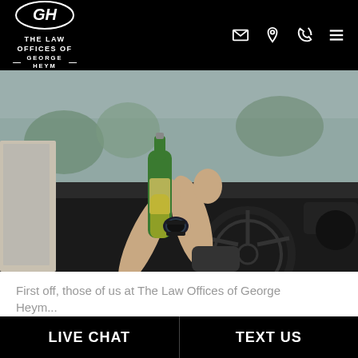THE LAW OFFICES OF GEORGE HEYM
[Figure (photo): Person driving a car while holding a green beer bottle in one hand and the steering wheel with the other, wearing a watch. Drunk driving scene.]
First off, those of us at The Law Offices of George Heym...
LIVE CHAT | TEXT US